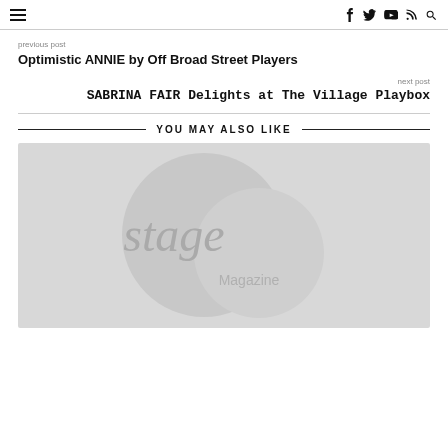≡  f  twitter  youtube  rss  search
previous post
Optimistic ANNIE by Off Broad Street Players
next post
SABRINA FAIR Delights at The Village Playbox
YOU MAY ALSO LIKE
[Figure (logo): Stage Magazine logo placeholder — two overlapping circles in light gray with 'stage' in large serif text and 'Magazine' below it, on a light gray background]